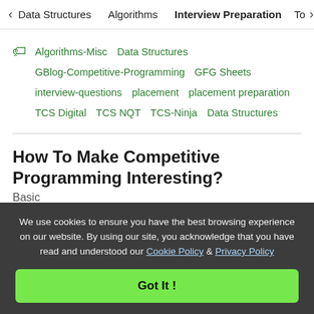< Data Structures   Algorithms   Interview Preparation   To>
Algorithms-Misc  Data Structures  GBlog-Competitive-Programming  GFG Sheets  interview-questions  placement  placement preparation  TCS Digital  TCS NQT  TCS-Ninja  Data Structures
How To Make Competitive Programming Interesting?
Basic
Competitive Programming is a field for programmers to make programs based on requirements and provided specifications. Us
We use cookies to ensure you have the best browsing experience on our website. By using our site, you acknowledge that you have read and understood our Cookie Policy & Privacy Policy
Got It !